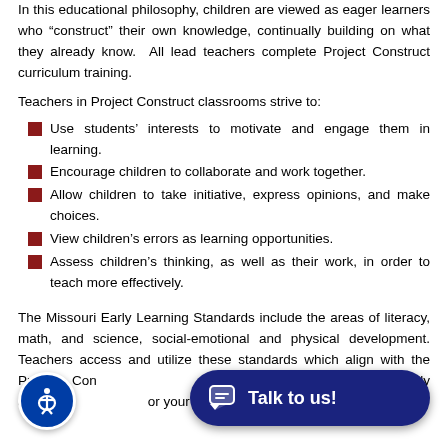In this educational philosophy, children are viewed as eager learners who "construct" their own knowledge, continually building on what they already know. All lead teachers complete Project Construct curriculum training.
Teachers in Project Construct classrooms strive to:
Use students' interests to motivate and engage them in learning.
Encourage children to collaborate and work together.
Allow children to take initiative, express opinions, and make choices.
View children's errors as learning opportunities.
Assess children's thinking, as well as their work, in order to teach more effectively.
The Missouri Early Learning Standards include the areas of literacy, math, and science, social-emotional and physical development. Teachers access and utilize these standards which align with the Project Construct curriculum, a well-rounded, developmentally appropriate program for your child.